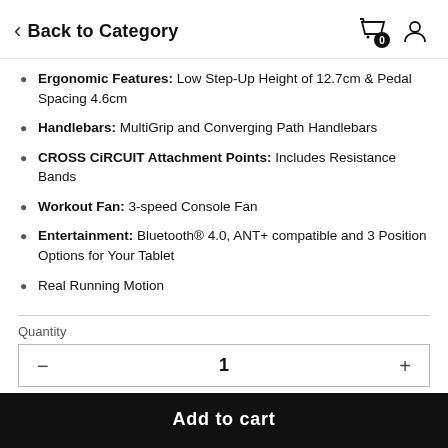< Back to Category
Ergonomic Features: Low Step-Up Height of 12.7cm & Pedal Spacing 4.6cm
Handlebars: MultiGrip and Converging Path Handlebars
CROSS CiRCUIT Attachment Points: Includes Resistance Bands
Workout Fan: 3-speed Console Fan
Entertainment: Bluetooth® 4.0, ANT+ compatible and 3 Position Options for Your Tablet
Real Running Motion
Quantity
1
Add to cart